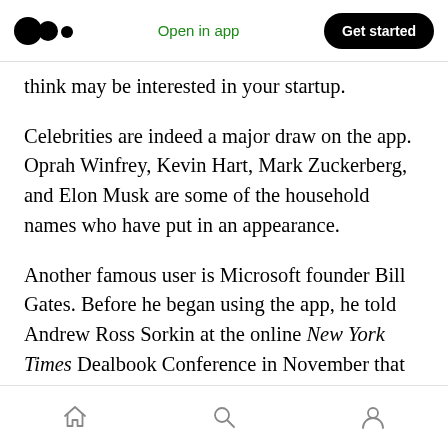Open in app | Get started
think may be interested in your startup.
Celebrities are indeed a major draw on the app. Oprah Winfrey, Kevin Hart, Mark Zuckerberg, and Elon Musk are some of the household names who have put in an appearance.
Another famous user is Microsoft founder Bill Gates. Before he began using the app, he told Andrew Ross Sorkin at the online New York Times Dealbook Conference in November that “More could be done on the software side to allow for serendipitous run-ins after meetings.” Three
Home | Search | Profile